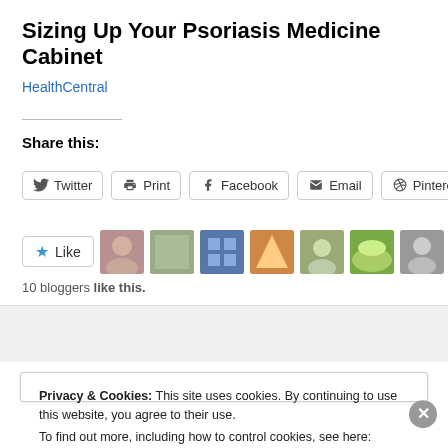Sizing Up Your Psoriasis Medicine Cabinet
HealthCentral
Share this:
[Figure (other): Share buttons row: Twitter, Print, Facebook, Email, Pinterest]
[Figure (other): Like button with star icon followed by 10 blogger avatar thumbnails]
10 bloggers like this.
Privacy & Cookies: This site uses cookies. By continuing to use this website, you agree to their use. To find out more, including how to control cookies, see here: Cookie Policy
Close and accept